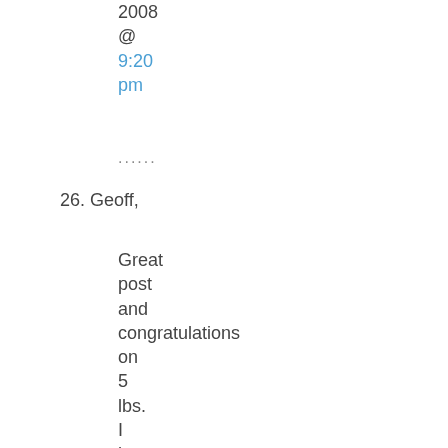2008 @ 9:20 pm
......
26. Geoff,

Great post and congratulations on 5 lbs. I have always been able to eat obscene amounts of food with no